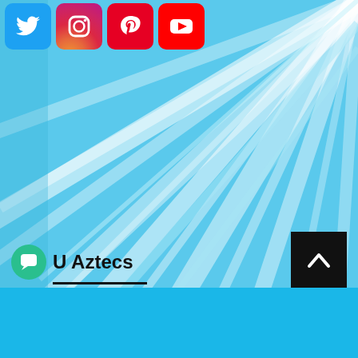[Figure (screenshot): Social media page screenshot with blue diagonal ray burst background. Top row shows four social media icons: Twitter (blue bird), Instagram (gradient camera), Pinterest (red P), YouTube (red play button). Bottom left shows a chat bubble icon in teal with 'U Aztecs' text and underline. Bottom right shows a black 'back to top' button with up chevron. Bottom strip is cyan/blue.]